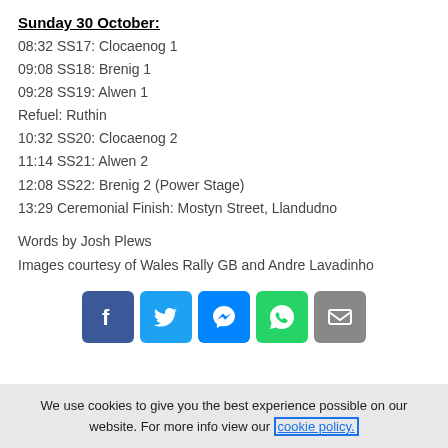Sunday 30 October:
08:32 SS17: Clocaenog 1
09:08 SS18: Brenig 1
09:28 SS19: Alwen 1
Refuel: Ruthin
10:32 SS20: Clocaenog 2
11:14 SS21: Alwen 2
12:08 SS22: Brenig 2 (Power Stage)
13:29 Ceremonial Finish: Mostyn Street, Llandudno
Words by Josh Plews
Images courtesy of Wales Rally GB and Andre Lavadinho
[Figure (infographic): Row of 5 social media share buttons: Facebook, Twitter, Messenger, WhatsApp, Email]
We use cookies to give you the best experience possible on our website. For more info view our cookie policy.